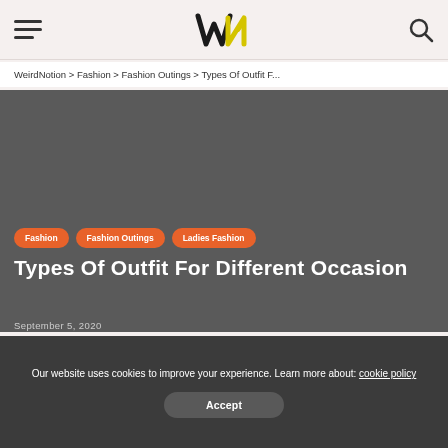WeirdNotion logo header with hamburger menu and search icon
WeirdNotion > Fashion > Fashion Outings > Types Of Outfit F...
Fashion
Fashion Outings
Ladies Fashion
Types Of Outfit For Different Occasion
September 5, 2020
Our website uses cookies to improve your experience. Learn more about: cookie policy
Accept